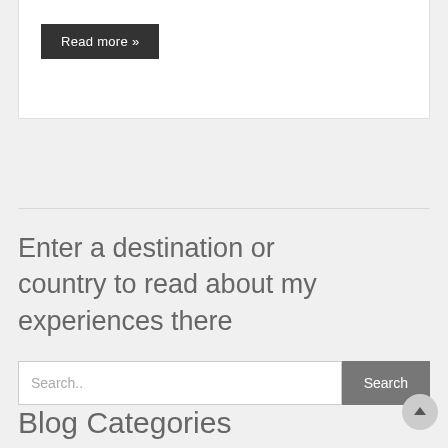Read more »
Enter a destination or country to read about my experiences there
Search..
Blog Categories